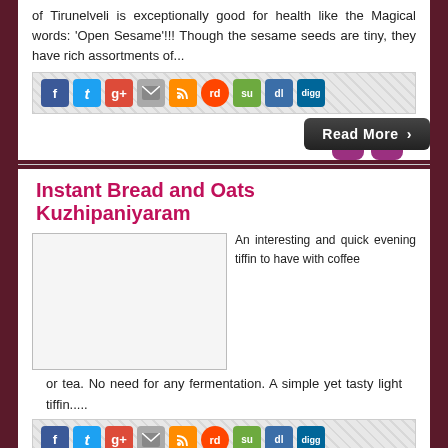of Tirunelveli is exceptionally good for health like the Magical words: 'Open Sesame'!!! Though the sesame seeds are tiny, they have rich assortments of...
[Figure (other): Social sharing icons bar: Facebook, Twitter, Google+, Email, RSS, Reddit, StumbleUpon, Delicious, Digg]
[Figure (other): Read More button (dark rounded rectangle with arrow)]
Instant Bread and Oats Kuzhipaniyaram
[Figure (photo): Placeholder image box for Instant Bread and Oats Kuzhipaniyaram recipe]
An interesting and quick evening tiffin to have with coffee or tea. No need for any fermentation. A simple yet tasty light tiffin.....
[Figure (other): Social sharing icons bar: Facebook, Twitter, Google+, Email, RSS, Reddit, StumbleUpon, Delicious, Digg]
[Figure (other): Read More button (dark rounded rectangle with arrow) partially visible at bottom]